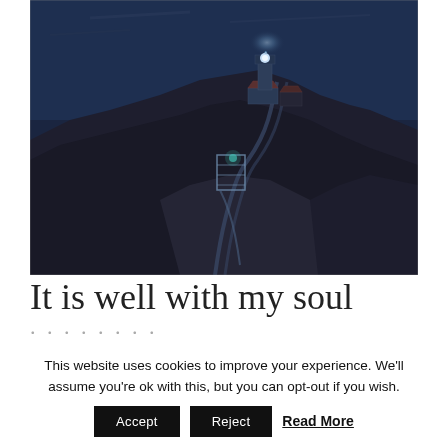[Figure (photo): Nighttime aerial photograph of a lighthouse on a rocky coastal cliff with a winding path leading down to it, dark blue moody atmosphere, ocean visible in background]
It is well with my soul
This website uses cookies to improve your experience. We'll assume you're ok with this, but you can opt-out if you wish.
Accept | Reject | Read More